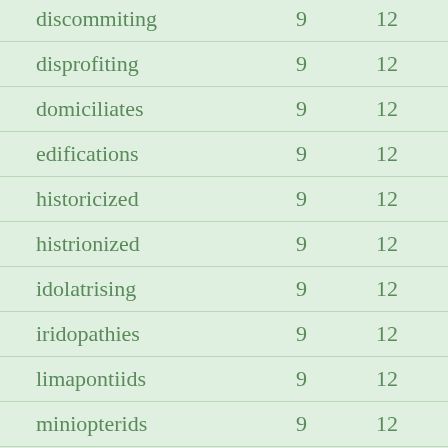| discommiting | 9 | 12 |
| disprofiting | 9 | 12 |
| domiciliates | 9 | 12 |
| edifications | 9 | 12 |
| historicized | 9 | 12 |
| histrionized | 9 | 12 |
| idolatrising | 9 | 12 |
| iridopathies | 9 | 12 |
| limapontiids | 9 | 12 |
| miniopterids | 9 | 12 |